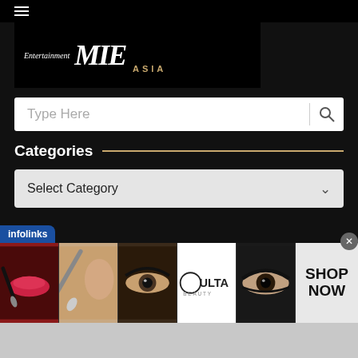[Figure (screenshot): Black top navigation bar with hamburger menu icon]
[Figure (logo): Entertainment MIE ASIA logo on black background]
[Figure (screenshot): Search bar with placeholder text 'Type Here' and a magnifying glass icon]
Categories
[Figure (screenshot): Dropdown selector with text 'Select Category' and a chevron/down arrow]
[Figure (screenshot): Infolinks advertisement banner showing beauty/makeup images, ULTA Beauty logo, and SHOP NOW call-to-action]